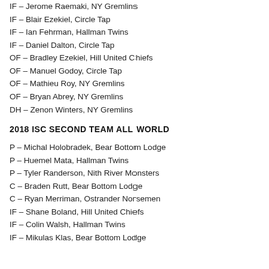IF – Jerome Raemaki, NY Gremlins
IF – Blair Ezekiel, Circle Tap
IF – Ian Fehrman, Hallman Twins
IF – Daniel Dalton, Circle Tap
OF – Bradley Ezekiel, Hill United Chiefs
OF – Manuel Godoy, Circle Tap
OF – Mathieu Roy, NY Gremlins
OF – Bryan Abrey, NY Gremlins
DH – Zenon Winters, NY Gremlins
2018 ISC SECOND TEAM ALL WORLD
P – Michal Holobradek, Bear Bottom Lodge
P – Huemel Mata, Hallman Twins
P – Tyler Randerson, Nith River Monsters
C – Braden Rutt, Bear Bottom Lodge
C – Ryan Merriman, Ostrander Norsemen
IF – Shane Boland, Hill United Chiefs
IF – Colin Walsh, Hallman Twins
IF – Mikulas Klas, Bear Bottom Lodge